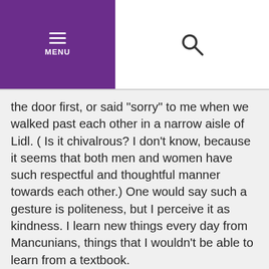MENU (hamburger icon) | Search (magnifying glass icon)
the door first, or said "sorry" to me when we walked past each other in a narrow aisle of Lidl. ( Is it chivalrous? I don't know, because it seems that both men and women have such respectful and thoughtful manner towards each other.) One would say such a gesture is politeness, but I perceive it as kindness. I learn new things every day from Mancunians, things that I wouldn't be able to learn from a textbook.
A diverse and inclusive city, Manchester fosters not only creativity but an understanding, accepting, and sympathetic nature in its people. That's why I love to interact and have small talk with Mancunians because I couldn't get enough of their hospitality and big warm smiles.